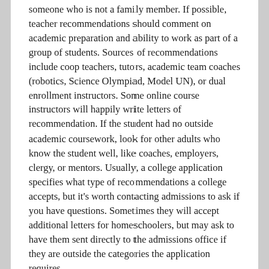someone who is not a family member. If possible, teacher recommendations should comment on academic preparation and ability to work as part of a group of students. Sources of recommendations include coop teachers, tutors, academic team coaches (robotics, Science Olympiad, Model UN), or dual enrollment instructors. Some online course instructors will happily write letters of recommendation. If the student had no outside academic coursework, look for other adults who know the student well, like coaches, employers, clergy, or mentors. Usually, a college application specifies what type of recommendations a college accepts, but it's worth contacting admissions to ask if you have questions. Sometimes they will accept additional letters for homeschoolers, but may ask to have them sent directly to the admissions office if they are outside the categories the application requires.